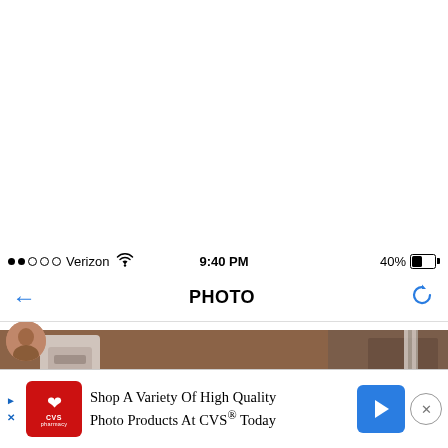[Figure (screenshot): Mobile phone screenshot showing iOS status bar with Verizon carrier, 9:40 PM time, 40% battery, a PHOTO navigation bar with back arrow and refresh icon, a partial profile avatar, a medical/hospital room photo showing a device panel with camera lens and red dot, wall panels, hair, and white garment, and a CVS pharmacy advertisement banner at the bottom reading 'Shop A Variety Of High Quality Photo Products At CVS® Today']